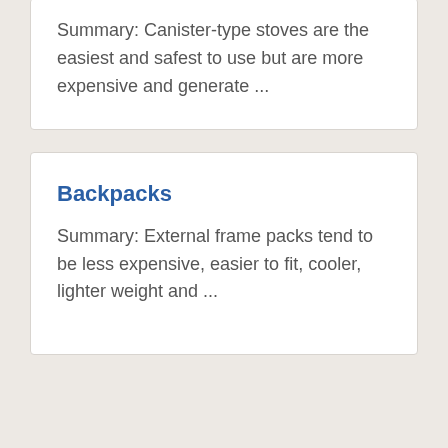Summary: Canister-type stoves are the easiest and safest to use but are more expensive and generate ...
Backpacks
Summary: External frame packs tend to be less expensive, easier to fit, cooler, lighter weight and ...